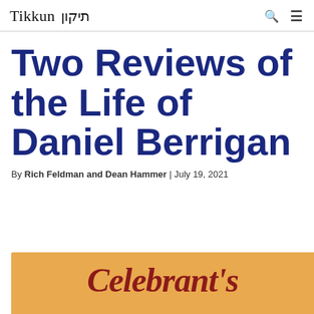Tikkun תיקון
Two Reviews of the Life of Daniel Berrigan
By Rich Feldman and Dean Hammer | July 19, 2021
[Figure (photo): Book cover showing the word Celebrant's in red italic script on an orange/golden background]